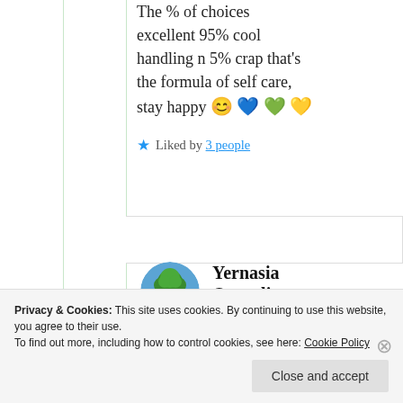The % of choices excellent 95% cool handling n 5% crap that's the formula of self care, stay happy 😊 💙 💚 💛
★ Liked by 3 people
[Figure (illustration): Circular avatar showing a tree on a small island surrounded by water, blue sky background]
Yernasia Quorelios
Privacy & Cookies: This site uses cookies. By continuing to use this website, you agree to their use. To find out more, including how to control cookies, see here: Cookie Policy
Close and accept